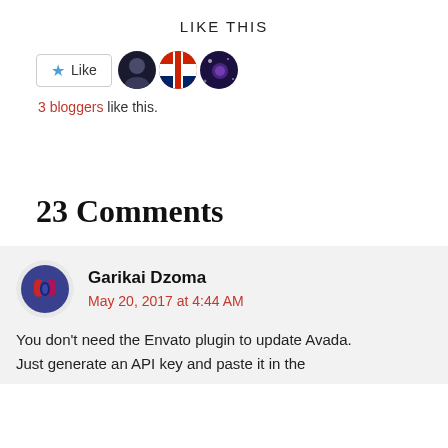LIKE THIS
[Figure (other): Like button with star icon and three blogger avatar thumbnails]
3 bloggers like this.
23 Comments
[Figure (other): Commenter avatar for Garikai Dzoma]
Garikai Dzoma
May 20, 2017 at 4:44 AM
You don't need the Envato plugin to update Avada. Just generate an API key and paste it in the